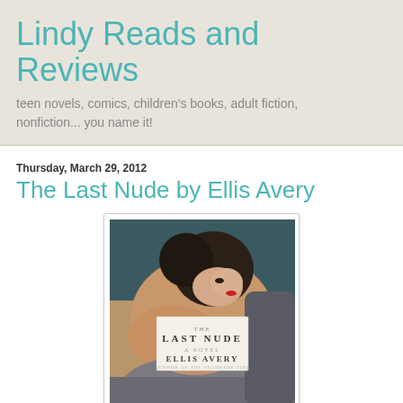Lindy Reads and Reviews
teen novels, comics, children's books, adult fiction, nonfiction... you name it!
Thursday, March 29, 2012
The Last Nude by Ellis Avery
[Figure (illustration): Book cover for 'The Last Nude' by Ellis Avery showing a reclining nude woman in Art Deco style painting, with a white label in the center showing the book title and author name.]